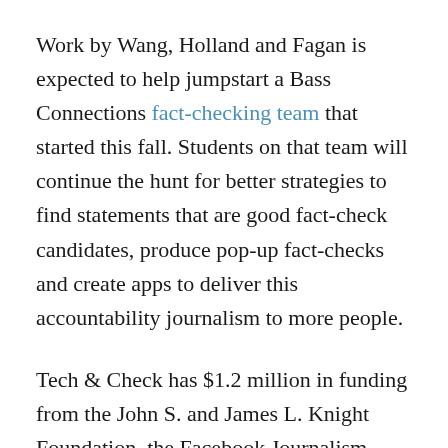Work by Wang, Holland and Fagan is expected to help jumpstart a Bass Connections fact-checking team that started this fall. Students on that team will continue the hunt for better strategies to find statements that are good fact-check candidates, produce pop-up fact-checks and create apps to deliver this accountability journalism to more people.
Tech & Check has $1.2 million in funding from the John S. and James L. Knight Foundation, the Facebook Journalism Project and the